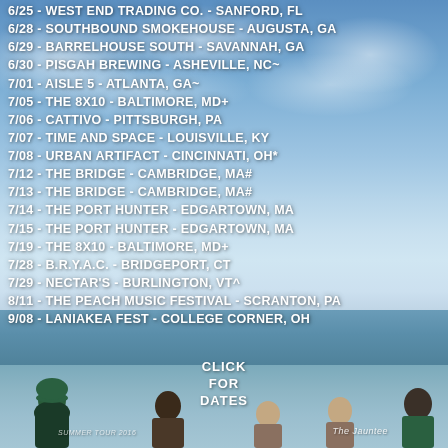6/25 - WEST END TRADING CO. - SANFORD, FL
6/28 - SOUTHBOUND SMOKEHOUSE - AUGUSTA, GA
6/29 - BARRELHOUSE SOUTH - SAVANNAH, GA
6/30 - PISGAH BREWING - ASHEVILLE, NC~
7/01 - AISLE 5 - ATLANTA, GA~
7/05 - THE 8X10 - BALTIMORE, MD+
7/06 - CATTIVO - PITTSBURGH, PA
7/07 - TIME AND SPACE - LOUISVILLE, KY
7/08 - URBAN ARTIFACT - CINCINNATI, OH*
7/12 - THE BRIDGE - CAMBRIDGE, MA#
7/13 - THE BRIDGE - CAMBRIDGE, MA#
7/14 - THE PORT HUNTER - EDGARTOWN, MA
7/15 - THE PORT HUNTER - EDGARTOWN, MA
7/19 - THE 8X10 - BALTIMORE, MD+
7/28 - B.R.Y.A.C. - BRIDGEPORT, CT
7/29 - NECTAR'S - BURLINGTON, VT^
8/11 - THE PEACH MUSIC FESTIVAL - SCRANTON, PA
9/08 - LANIAKEA FEST - COLLEGE CORNER, OH
CLICK FOR DATES
SUMMER TOUR 2016
The Jauntee